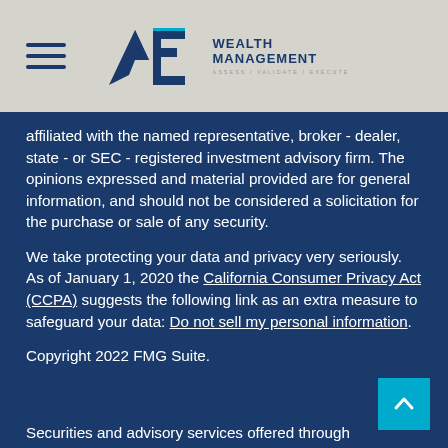AVE Wealth Management — Assess / Validate / Execute
affiliated with the named representative, broker-dealer, state - or SEC - registered investment advisory firm. The opinions expressed and material provided are for general information, and should not be considered a solicitation for the purchase or sale of any security.
We take protecting your data and privacy very seriously. As of January 1, 2020 the California Consumer Privacy Act (CCPA) suggests the following link as an extra measure to safeguard your data: Do not sell my personal information.
Copyright 2022 FMG Suite.
Securities and advisory services offered through